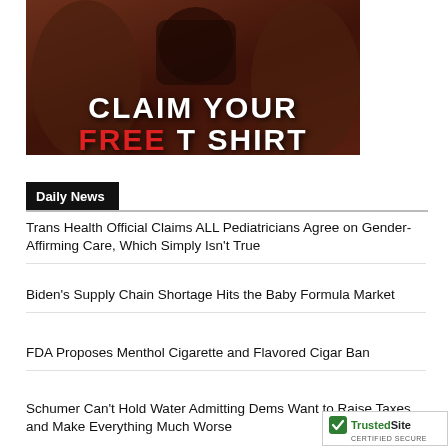[Figure (photo): Advertisement banner showing a tattooed person wearing a black t-shirt. Text overlaid reads 'CLAIM YOUR FREE T SHIRT' with 'FREE' in red and the rest in white bold capital letters.]
Daily News
Trans Health Official Claims ALL Pediatricians Agree on Gender-Affirming Care, Which Simply Isn't True
Biden's Supply Chain Shortage Hits the Baby Formula Market
FDA Proposes Menthol Cigarette and Flavored Cigar Ban
Schumer Can't Hold Water Admitting Dems Want to Raise Taxes and Make Everything Much Worse
[Figure (logo): TrustedSite CERTIFIED SECURE badge in bottom right corner]